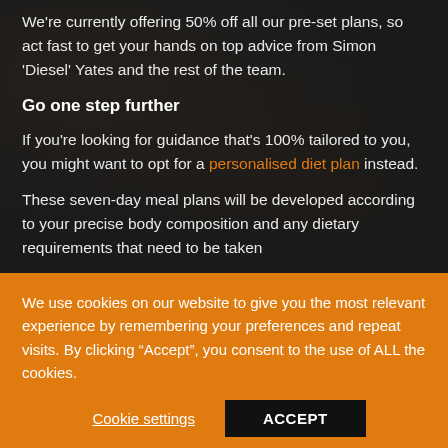We're currently offering 50% off all our pre-set plans, so act fast to get your hands on top advice from Simon 'Diesel' Yates and the rest of the team.
Go one step further
If you're looking for guidance that's 100% tailored to you, you might want to opt for a personalised diet plan instead.
These seven-day meal plans will be developed according to your precise body composition and any dietary requirements that need to be taken
We use cookies on our website to give you the most relevant experience by remembering your preferences and repeat visits. By clicking "Accept", you consent to the use of ALL the cookies.
Cookie settings
ACCEPT